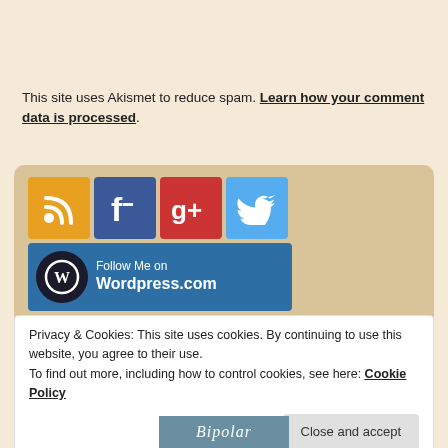This site uses Akismet to reduce spam. Learn how your comment data is processed.
[Figure (infographic): Social media follow buttons: RSS (orange), Facebook (blue), Google+ (red), Twitter (light blue), and a WordPress.com Follow Me button. Caption: (Type https://www.thescarletb.com/ in the box and click follow!)]
Privacy & Cookies: This site uses cookies. By continuing to use this website, you agree to their use.
To find out more, including how to control cookies, see here: Cookie Policy
Close and accept